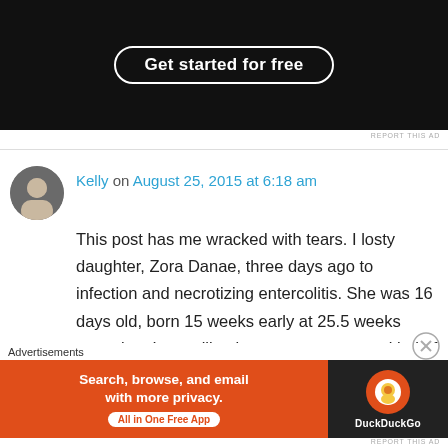[Figure (screenshot): Top advertisement banner with dark background and 'Get started for free' button in white rounded rectangle outline]
REPORT THIS AD
Kelly on August 25, 2015 at 6:18 am
This post has me wracked with tears. I losty daughter, Zora Danae, three days ago to infection and necrotizing entercolitis. She was 16 days old, born 15 weeks early at 25.5 weeks gestation. I am still trying to come to some kind of terms with everything. I have moments where I feel I am going to wake up from this nightmare and find that I am still pregnant with my feisty little girl,
Advertisements
[Figure (screenshot): DuckDuckGo advertisement banner: orange section with 'Search, browse, and email with more privacy. All in One Free App' and dark section with DuckDuckGo logo]